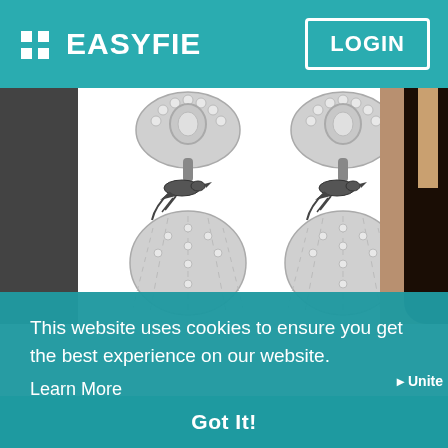EASYFIE | LOGIN
[Figure (photo): Product photo of decorative silver earrings with bird motifs and pearl-studded dome shapes, shown in pairs on a white background. Partially cropped on left by black bar. Right side shows edge of a person with dark hair.]
This website uses cookies to ensure you get the best experience on our website.
Learn More
Got It!